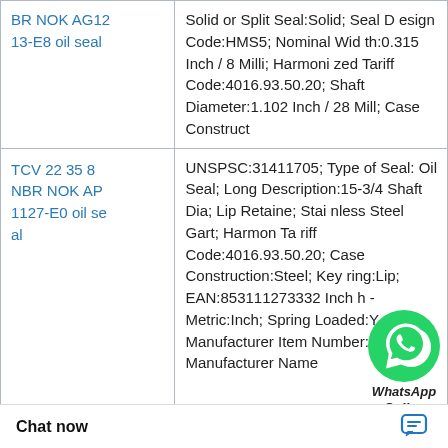| Product Name | Description |
| --- | --- |
| BR NOK AG1213-E8 oil seal | Solid or Split Seal:Solid; Seal Design Code:HMS5; Nominal Width:0.315 Inch / 8 Milli; Harmonized Tariff Code:4016.93.50.20; Shaft Diameter:1.102 Inch / 28 Mill; Case Construct |
| TCV 22 35 8 NBR NOK AP1127-E0 oil seal | UNSPSC:31411705; Type of Seal:Oil Seal; Long Description:15-3/4 Shaft Dia; Lip Retainer:Stainless Steel Gart; Harmonized Tariff Code:4016.93.50.20; Case Construction:Steel; Keyway:ring:Lip; EAN:85311127332; Inch - Metric:Inch; Spring Loaded:Yes; Manufacturer Item Number:1575580; Manufacturer Name |
|  | Manufacturer Name:SKF; Product Detail:Speedy Sleeve; Long Description:Speedy Sleeve; 1.8 Kilogram:0.091; EA 59; Category:Mech |
[Figure (illustration): WhatsApp Online chat icon overlay with green WhatsApp logo and 'WhatsApp Online' label]
× ···
Chat now